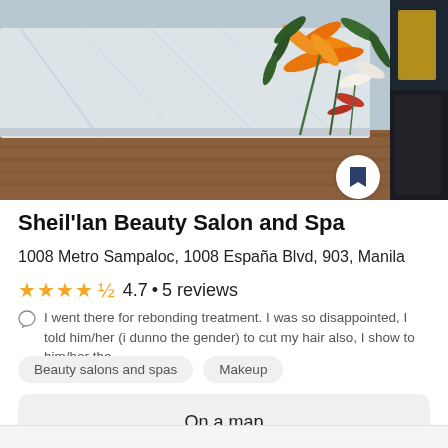[Figure (photo): Interior photo of Sheil'lan Beauty Salon and Spa showing a white marble reception counter with orange lily flowers and tropical plants, wooden base, and a dark elevator/door panel on the right]
Sheil'lan Beauty Salon and Spa
1008 Metro Sampaloc, 1008 España Blvd, 903, Manila
4.7 • 5 reviews
I went there for rebonding treatment. I was so disappointed, I told him/her (i dunno the gender) to cut my hair also, I show to him/her the…
Beauty salons and spas
Makeup
On a map